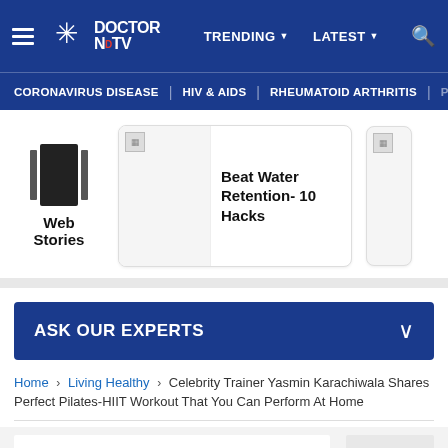Doctor NDTV — TRENDING | LATEST | Search
CORONAVIRUS DISEASE | HIV & AIDS | RHEUMATOID ARTHRITIS | PR...
Web Stories
Beat Water Retention- 10 Hacks
ASK OUR EXPERTS
Home › Living Healthy › Celebrity Trainer Yasmin Karachiwala Shares Perfect Pilates-HIIT Workout That You Can Perform At Home